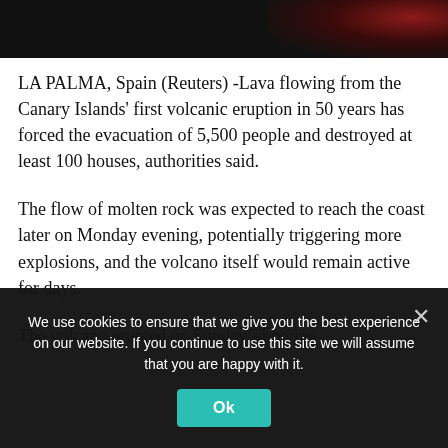[Figure (photo): Dark photo strip at top of page showing volcanic eruption with red/orange glow visible on right side against dark background]
LA PALMA, Spain (Reuters) -Lava flowing from the Canary Islands' first volcanic eruption in 50 years has forced the evacuation of 5,500 people and destroyed at least 100 houses, authorities said.
The flow of molten rock was expected to reach the coast later on Monday evening, potentially triggering more explosions, and the volcano itself would remain active for days.
The volcano erupted on Sunday, shooting
We use cookies to ensure that we give you the best experience on our website. If you continue to use this site we will assume that you are happy with it.